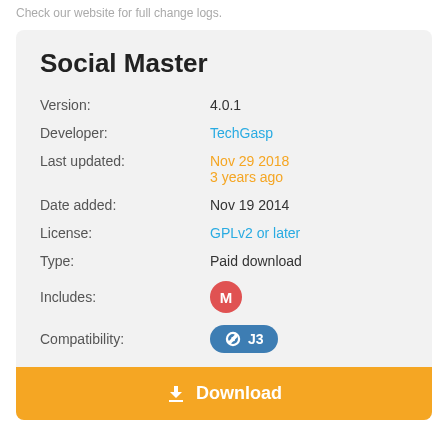Check our website for full change logs.
Social Master
Version: 4.0.1
Developer: TechGasp
Last updated: Nov 29 2018 3 years ago
Date added: Nov 19 2014
License: GPLv2 or later
Type: Paid download
Includes: M
Compatibility: J3
Download